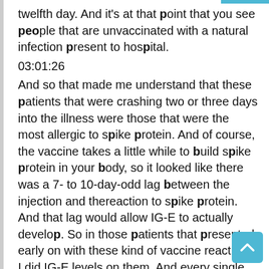twelfth day. And it's at that point that you see people that are unvaccinated with a natural infection present to hospital.
03:01:26
And so that made me understand that these patients that were crashing two or three days into the illness were those that were the most allergic to spike protein. And of course, the vaccine takes a little while to build spike protein in your body, so it looked like there was a 7- to 10-day-odd lag between the injection and thereaction to spike protein. And that lag would allow IG-E to actually develop. So in those patients that presented early on with these kind of vaccine reactions, I did IG-E levels on them. And every single one of them that had a severe reaction had drastically